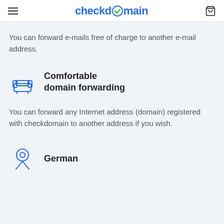checkdomain
You can forward e-mails free of charge to another e-mail address.
[Figure (illustration): Blue line-art icon of a sofa/armchair]
Comfortable domain forwarding
You can forward any Internet address (domain) registered with checkdomain to another address if you wish.
[Figure (illustration): Blue line-art globe/location pin icon]
German